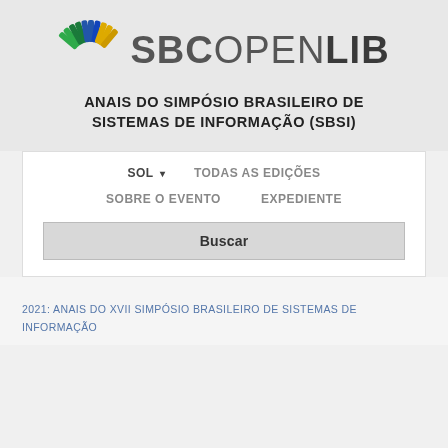[Figure (logo): SBC OpenLib logo with colorful fan/wheel icon and text SBCOPENLIB]
ANAIS DO SIMPÓSIO BRASILEIRO DE SISTEMAS DE INFORMAÇÃO (SBSI)
SOL ▾   TODAS AS EDIÇÕES
SOBRE O EVENTO   EXPEDIENTE
Buscar
2021: ANAIS DO XVII SIMPÓSIO BRASILEIRO DE SISTEMAS DE INFORMAÇÃO